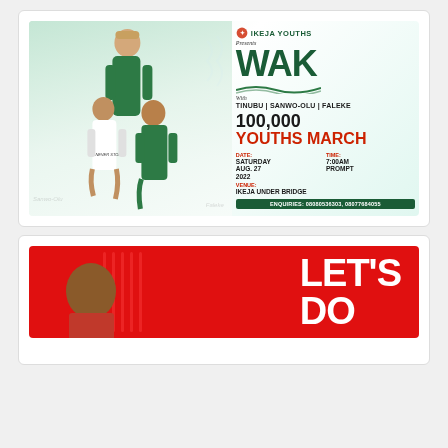[Figure (illustration): Ikeja Youths event poster for a 100,000 Youths March Walk with Tinubu, Sanwo-Olu, and Faleke. Shows three men in Nigerian sports attire. Date: Saturday Aug. 27 2022, Time: 7:00AM Prompt, Venue: Ikeja Under Bridge. Enquiries: 08080536303, 08077684055]
[Figure (illustration): Red banner with LET'S DO text visible, partially cropped, showing a bald person's head in foreground]